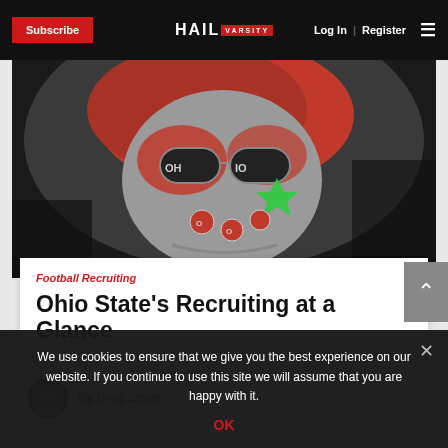Subscribe | HAIL VARSITY | Log In | Register
[Figure (photo): Ohio State football fan with face painted red and gray, wearing rhinestone sunglasses with 'OH IO', decorated red bandana, and Ohio State logo face stickers. Photo Credit: Eric Francis]
Photo Credit: Eric Francis
Football Recruiting
Ohio State's Recruiting at a Glance
By Greg Smith